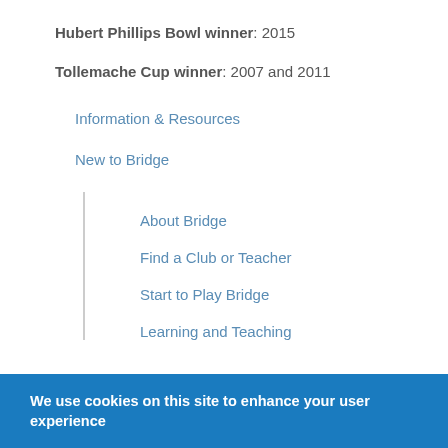Hubert Phillips Bowl winner: 2015
Tollemache Cup winner: 2007 and 2011
Information & Resources
New to Bridge
About Bridge
Find a Club or Teacher
Start to Play Bridge
Learning and Teaching
We use cookies on this site to enhance your user experience